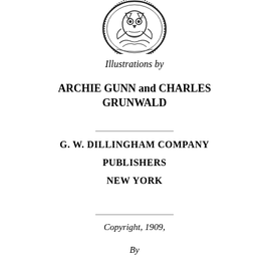[Figure (logo): Circular publisher's emblem or seal with decorative engraved design showing an owl or similar motif with foliage]
Illustrations by
ARCHIE GUNN and CHARLES GRUNWALD
G. W. DILLINGHAM COMPANY
PUBLISHERS
NEW YORK
Copyright, 1909,
By